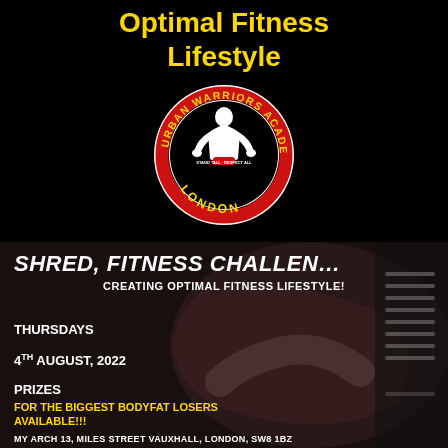Optimal Fitness Lifestyle
[Figure (logo): Urban Warriors Academy London circular logo — black and white figure of a muscular man inside a red circular band reading 'URBAN WARRIORS ACADEMY' at top and 'LONDON' at bottom, with tagline 'STAND TALL - RESPECT ALL']
[Figure (photo): Dark fitness promo image showing a woman exercising overlaid with white bold text: 'SHRED, FITNESS CHALLENGE', subtitle 'CREATING OPTIMAL FITNESS LIFESTYLE!', schedule info 'THURSDAYS', date '4th AUGUST, 2022', 'PRIZES', 'FOR THE BIGGEST BODYFAT LOSERS', 'AVAILABLE!!!', and address 'MY ARCH 13, MILES STREET VAUXHALL, LONDON, SW8 1BZ']